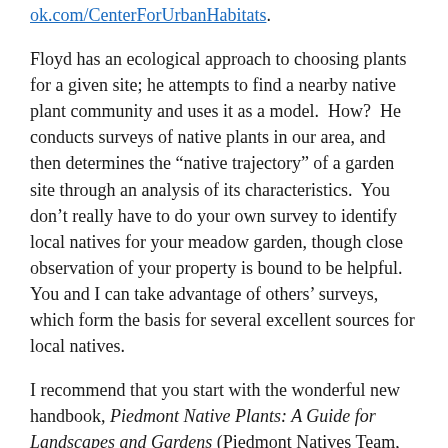ok.com/CenterForUrbanHabitats.
Floyd has an ecological approach to choosing plants for a given site; he attempts to find a nearby native plant community and uses it as a model.  How?  He conducts surveys of native plants in our area, and then determines the “native trajectory” of a garden site through an analysis of its characteristics.  You don’t really have to do your own survey to identify local natives for your meadow garden, though close observation of your property is bound to be helpful.  You and I can take advantage of others’ surveys, which form the basis for several excellent sources for local natives.
I recommend that you start with the wonderful new handbook, Piedmont Native Plants: A Guide for Landscapes and Gardens (Piedmont Natives Team, Repp Glaettli, ed.). You can obtain your own copy of this book from the Thomas Jefferson Soil and Water Conservation District,